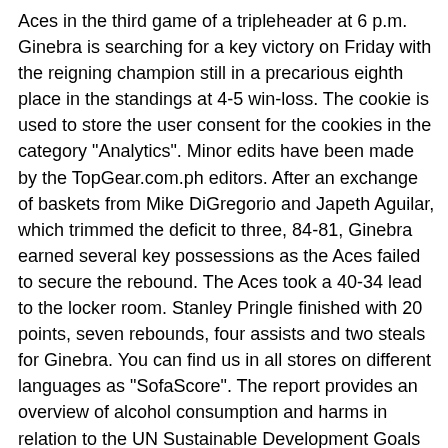Aces in the third game of a tripleheader at 6 p.m. Ginebra is searching for a key victory on Friday with the reigning champion still in a precarious eighth place in the standings at 4-5 win-loss. The cookie is used to store the user consent for the cookies in the category "Analytics". Minor edits have been made by the TopGear.com.ph editors. After an exchange of baskets from Mike DiGregorio and Japeth Aguilar, which trimmed the deficit to three, 84-81, Ginebra earned several key possessions as the Aces failed to secure the rebound. The Aces took a 40-34 lead to the locker room. Stanley Pringle finished with 20 points, seven rebounds, four assists and two steals for Ginebra. You can find us in all stores on different languages as "SofaScore". The report provides an overview of alcohol consumption and harms in relation to the UN Sustainable Development Goals (Chapter 1) presents global strategies action plans and monitoring frameworks (Chapter 2) gives detailed information on: ... "Stanley's the most consistent player in the league, much less Ginebra," Cone said in the post-game press conference. This landmark volume discusses the characteristics and impact of